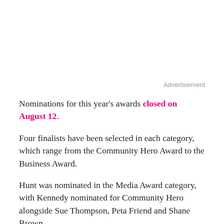Advertisement
Nominations for this year's awards closed on August 12.
Four finalists have been selected in each category, which range from the Community Hero Award to the Business Award.
Hunt was nominated in the Media Award category, with Kennedy nominated for Community Hero alongside Sue Thompson, Peta Friend and Shane Brown.
First held in 2007, the Honour Awards will be handed